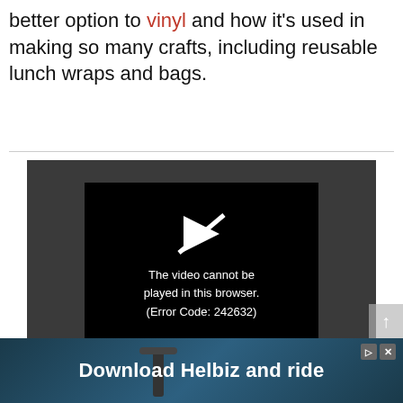better option to vinyl and how it's used in making so many crafts, including reusable lunch wraps and bags.
[Figure (screenshot): Embedded video player showing an error message: 'The video cannot be played in this browser. (Error Code: 242632)' on a black background with a broken video icon, set inside a dark gray player container.]
And with back to school upon us, we want to promote waste f[...] inch bags. B[...]
[Figure (screenshot): Advertisement bar at the bottom showing a photo of a scooter handlebar with text 'Download Helbiz and ride' in bold white, with close (X) and skip (D>) buttons.]